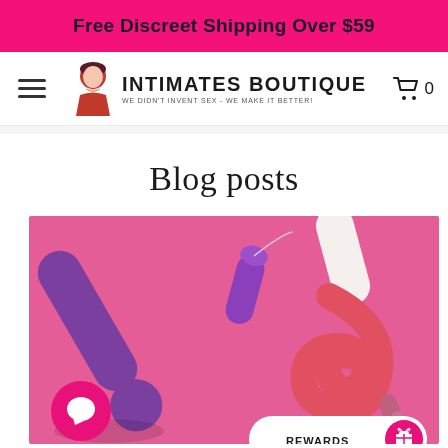Free Discreet Shipping Over $59
[Figure (logo): Intimates Boutique logo with tagline 'We Didn't Invent Sex - We Make It Better!']
Blog posts
[Figure (photo): Pink background with various adult toy products in purple, pink, and coral colors including a wand vibrator, bullet vibrator, and other items]